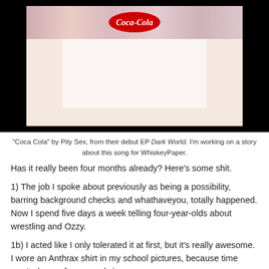[Figure (photo): Album artwork for 'Coca Cola' by Pity Sex from EP Dark World. Shows a floral collage background with a white central area and a red Coca-Cola logo at the top, set against a black background.]
"Coca Cola" by Pity Sex, from their debut EP Dark World. I'm working on a story about this song for WhiskeyPaper.
Has it really been four months already? Here's some shit.
1) The job I spoke about previously as being a possibility, barring background checks and whathaveyou, totally happened. Now I spend five days a week telling four-year-olds about wrestling and Ozzy.
1b) I acted like I only tolerated it at first, but it's really awesome. I wore an Anthrax shirt in my school pictures, because time won't change for me and vice-versa.
1c) My phone is a veritable cesspool of adorable pictures of kids helping me cook lunch. I'm worse than a grandmother.